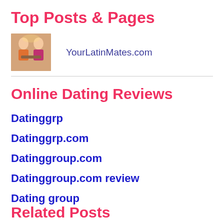Top Posts & Pages
[Figure (photo): Small thumbnail photo of two people on a date, warm tones]
YourLatinMates.com
Online Dating Reviews
Datinggrp
Datinggrp.com
Datinggroup.com
Datinggroup.com review
Dating group
Related Posts